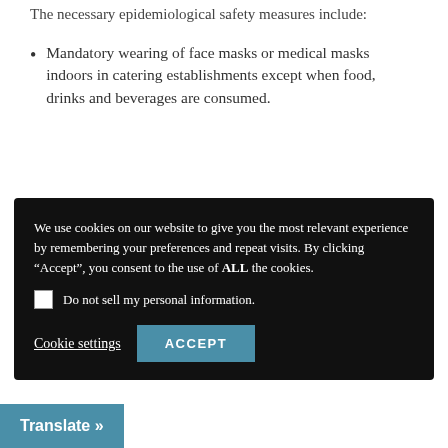The necessary epidemiological safety measures include:
Mandatory wearing of face masks or medical masks indoors in catering establishments except when food, drinks and beverages are consumed.
We use cookies on our website to give you the most relevant experience by remembering your preferences and repeat visits. By clicking “Accept”, you consent to the use of ALL the cookies.
Do not sell my personal information.
Cookie settings  ACCEPT
contact.
At all social gatherings (events, performances, masses, rituals, exhibitions and other social gatherings) it is obligatory to adhere to all epidemiological safety measures. If they [indoors] it is obligatory to wear face masks
Translate »